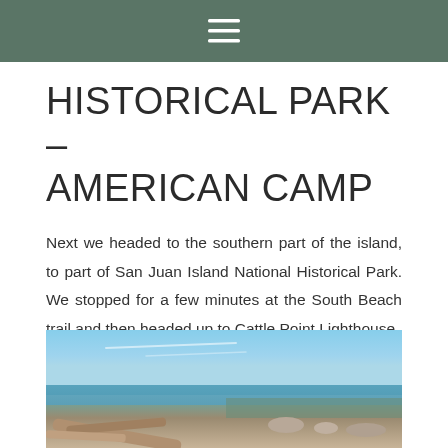☰
HISTORICAL PARK – AMERICAN CAMP
Next we headed to the southern part of the island, to part of San Juan Island National Historical Park. We stopped for a few minutes at the South Beach trail and then headed up to Cattle Point Lighthouse.
[Figure (photo): Outdoor coastal scene showing blue sky with faint cloud streaks, ocean water, rocky shoreline, and driftwood logs in the foreground]